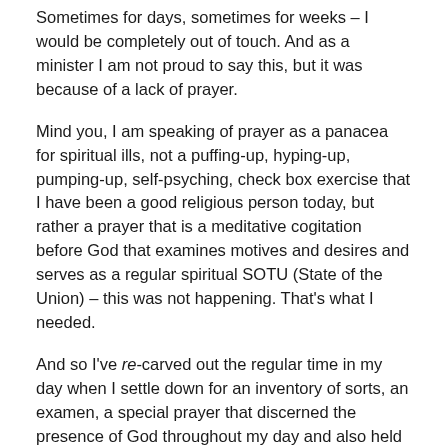Sometimes for days, sometimes for weeks – I would be completely out of touch. And as a minister I am not proud to say this, but it was because of a lack of prayer.
Mind you, I am speaking of prayer as a panacea for spiritual ills, not a puffing-up, hyping-up, pumping-up, self-psyching, check box exercise that I have been a good religious person today, but rather a prayer that is a meditative cogitation before God that examines motives and desires and serves as a regular spiritual SOTU (State of the Union) – this was not happening. That's what I needed.
And so I've re-carved out the regular time in my day when I settle down for an inventory of sorts, an examen, a special prayer that discerned the presence of God throughout my day and also held up my own wants, needs, and desires to the scrutiny of the divine. It's different from the 11 to midnight prayers I used to do